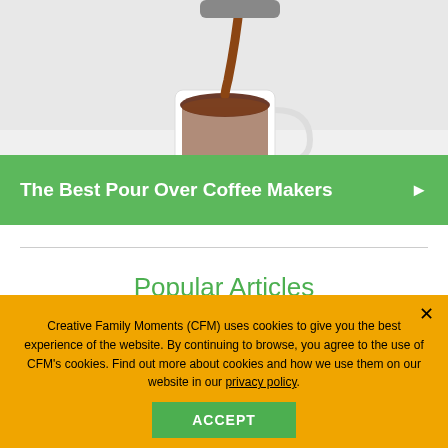[Figure (photo): Coffee being poured into a white cup from above, close-up shot on white background]
The Best Pour Over Coffee Makers ▶
Popular Articles
[Figure (photo): Small thumbnail image of an article]
Creative Family Moments (CFM) uses cookies to give you the best experience of the website. By continuing to browse, you agree to the use of CFM's cookies. Find out more about cookies and how we use them on our website in our privacy policy.
ACCEPT